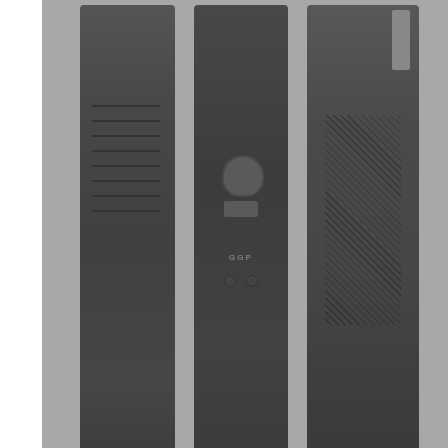[Figure (photo): Three firearm slides/components displayed vertically side-by-side on a gray background - left shows diagonal grip texture, center shows skull logo and GGP branding, right shows crosshatch texture pattern]
VIEW PRODUCTS
UPGRADE YOUR EDC
[Figure (screenshot): Video player error overlay showing 'FAST DRILL: CAP' title with menu and edit icons, and error message 'Uh oh, something went wrong' with video controls bar showing play button, progress bar with X mark, 0:00 timestamp, and fullscreen button. Muted speaker icon visible.]
[Figure (photo): Close-up photo of green grass blades and foliage with blurred background]